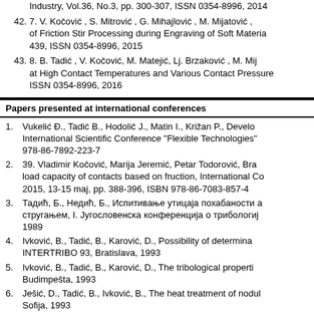Industry, Vol.36, No.3, pp. 300-307, ISSN 0354-8996, 2014
42. 7. V. Kočović , S. Mitrović , G. Mihajlović , M. Mijatović , of Friction Stir Processing during Engraving of Soft Materia 439, ISSN 0354-8996, 2015
43. 8. B. Tadić , V. Kočović, M. Matejić, Lj. Brzaković , M. Mij at High Contact Temperatures and Various Contact Pressure ISSN 0354-8996, 2016
Papers presented at international conferences
1. Vukelić Đ., Tadić B., Hodolič J., Matin I., Križan P., Develo International Scientific Conference "Flexible Technologies" 978-86-7892-223-7
2. 39. Vladimir Kočović, Marija Jeremić, Petar Todorović, Bra load capacity of contacts based on fruction, International Co 2015, 13-15 maj, pp. 388-396, ISBN 978-86-7083-857-4
3. Тадић, Б., Недић, Б., Испитивање утицаја похабаности а стругањем, I. Југословенска конференција о трибологиј 1989
4. Ivković, B., Tadić, B., Karović, D., Possibility of determina INTERTRIBO 93, Bratislava, 1993
5. Ivković, B., Tadić, B., Karović, D., The tribological properti Budimpešta, 1993
6. Ješić, D., Tadić, B., Ivković, B., The heat treatment of nodul Sofija, 1993
7. Nedić, B., Tadić, B., Đorđević, Z., Babić, M., Some results a